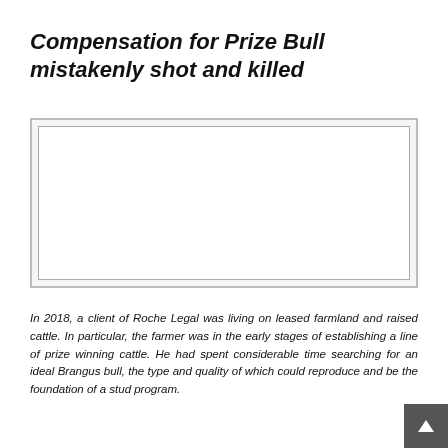Compensation for Prize Bull mistakenly shot and killed
[Figure (photo): Empty image placeholder with double border (outer grey, inner lighter grey/white), likely a photo of a prize bull that did not load.]
In 2018, a client of Roche Legal was living on leased farmland and raised cattle. In particular, the farmer was in the early stages of establishing a line of prize winning cattle. He had spent considerable time searching for an ideal Brangus bull, the type and quality of which could reproduce and be the foundation of a stud program.